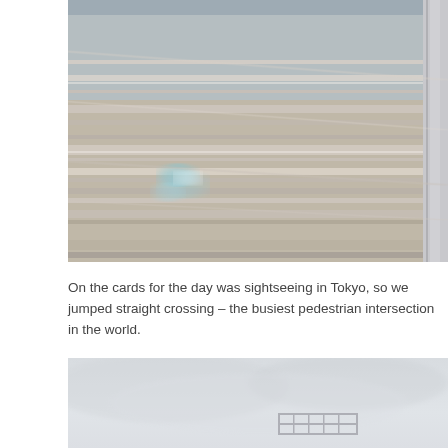[Figure (photo): Motion-blurred photo of railway tracks or road surface seen from a moving train window, with streaks of grey, beige, and white running diagonally. A silver window frame is visible on the right side.]
On the cards for the day was sightseeing in Tokyo, so we jumped straight crossing – the busiest pedestrian intersection in the world.
[Figure (photo): Misty or foggy outdoor scene with a light grey sky. A structure that appears to be a pedestrian crossing or scaffolding framework is faintly visible in the lower portion of the image.]